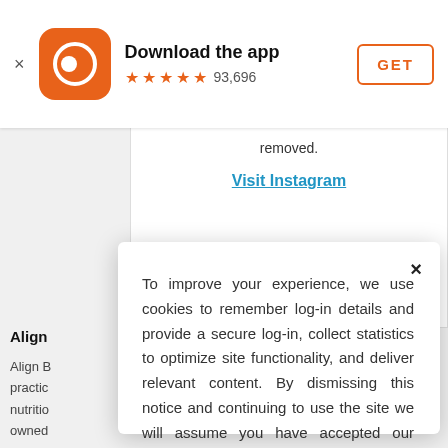[Figure (screenshot): App download banner with orange circular app icon, bold title 'Download the app', star rating with 93,696 reviews, and an orange outlined GET button]
removed.
Visit Instagram
Align
Align B... practic... nutritio... owned...
To improve your experience, we use cookies to remember log-in details and provide a secure log-in, collect statistics to optimize site functionality, and deliver relevant content. By dismissing this notice and continuing to use the site we will assume you have accepted our Cookie Policy